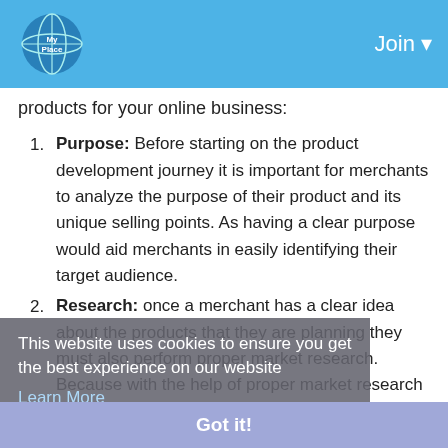My Place | Join
products for your online business:
1. Purpose: Before starting on the product development journey it is important for merchants to analyze the purpose of their product and its unique selling points. As having a clear purpose would aid merchants in easily identifying their target audience.
2. Research: once a merchant has a clear idea about the products that they are planning they must also perform proper market research. Because with the help of proper market research merchants will have a clear understanding of their target audience, and
This website uses cookies to ensure you get the best experience on our website Learn More
Got it!